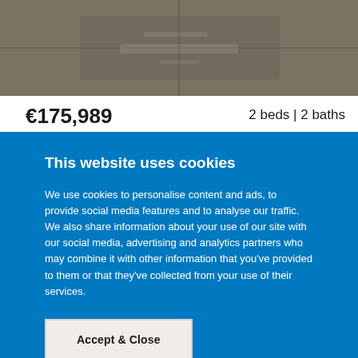[Figure (photo): Aerial or overhead view of a road/parking area with dark asphalt texture, partially visible at the top of the page]
€175,989
2 beds | 2 baths
Marsa
Duplex Penthouse
This website uses cookies
We use cookies to personalise content and ads, to provide social media features and to analyse our traffic. We also share information about your use of our site with our social media, advertising and analytics partners who may combine it with other information that you've provided to them or that they've collected from your use of their services.
Accept & Close